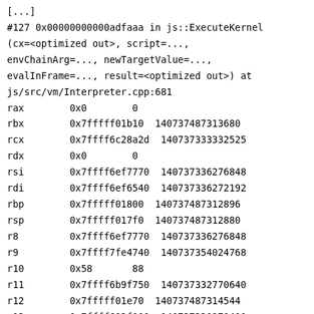[...]
#127 0x00000000000adfaaa in js::ExecuteKernel (cx=<optimized out>, script=..., envChainArg=..., newTargetValue=..., evalInFrame=..., result=<optimized out>) at js/src/vm/Interpreter.cpp:681
rax        0x0        0
rbx        0x7fffff01b10  140737487313680
rcx        0x7ffff6c28a2d  140737333332525
rdx        0x0        0
rsi        0x7ffff6ef7770  140737336276848
rdi        0x7ffff6ef6540  140737336272192
rbp        0x7fffff01800  140737487312896
rsp        0x7fffff017f0  140737487312880
r8         0x7ffff6ef7770  140737336276848
r9         0x7ffff7fe4740  140737354024768
r10        0x58       88
r11        0x7ffff6b9f750  140737332770640
r12        0x7fffff01e70  140737487314544
r13        0x7ffff693f000  140737330278400